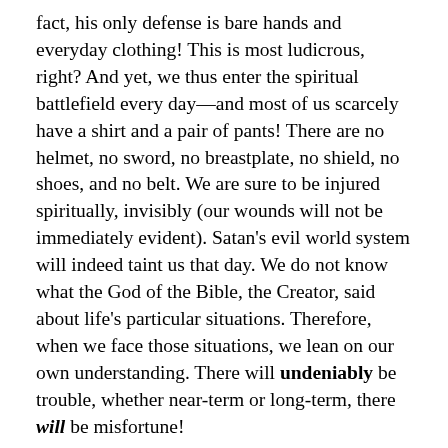fact, his only defense is bare hands and everyday clothing! This is most ludicrous, right? And yet, we thus enter the spiritual battlefield every day—and most of us scarcely have a shirt and a pair of pants! There are no helmet, no sword, no breastplate, no shield, no shoes, and no belt. We are sure to be injured spiritually, invisibly (our wounds will not be immediately evident). Satan's evil world system will indeed taint us that day. We do not know what the God of the Bible, the Creator, said about life's particular situations. Therefore, when we face those situations, we lean on our own understanding. There will undeniably be trouble, whether near-term or long-term, there will be misfortune!
Let us try another basic illustration. Are you too busy to eat? (It sounds silly, but just follow the logic.) Why do you take time to eat, friend? There are so many other things to do every day! Skip eating